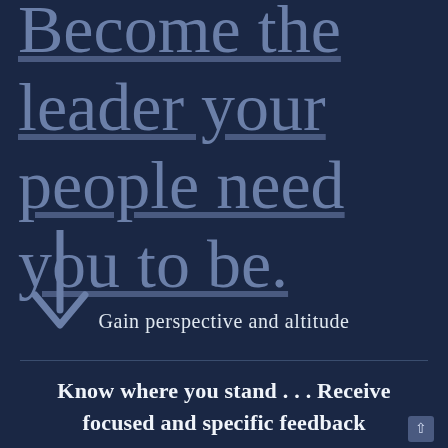Become the leader your people need you to be.
[Figure (illustration): A downward-pointing arrow in a muted steel-blue color, indicating direction downward.]
Gain perspective and altitude
Know where you stand . . . Receive focused and specific feedback